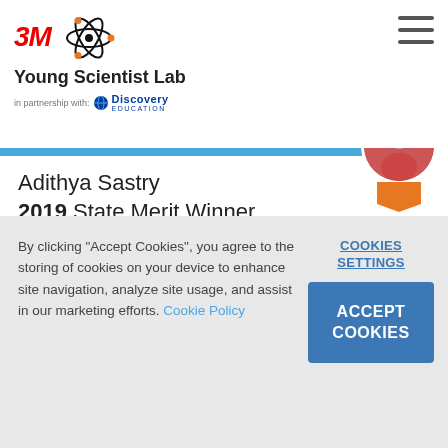3M Young Scientist Lab — in partnership with Discovery Education
Adithya Sastry
2019 State Merit Winner
5th grade
Tennessee
By clicking "Accept Cookies", you agree to the storing of cookies on your device to enhance site navigation, analyze site usage, and assist in our marketing efforts. Cookie Policy
COOKIES SETTINGS
ACCEPT COOKIES